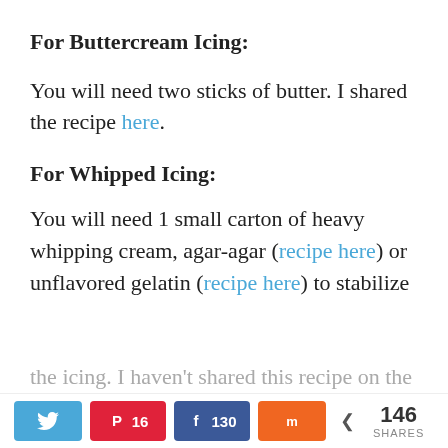For Buttercream Icing:
You will need two sticks of butter. I shared the recipe here.
For Whipped Icing:
You will need 1 small carton of heavy whipping cream, agar-agar (recipe here) or unflavored gelatin (recipe here) to stabilize the icing. I haven't shared this recipe on the
Twitter | Pinterest 16 | Facebook 130 | Mix | < 146 SHARES